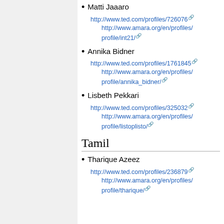Matti Jaaaro
http://www.ted.com/profiles/726076
http://www.amara.org/en/profiles/profile/int21/
Annika Bidner
http://www.ted.com/profiles/1761845
http://www.amara.org/en/profiles/profile/annika_bidner/
Lisbeth Pekkari
http://www.ted.com/profiles/325032
http://www.amara.org/en/profiles/profile/listoplisto/
Tamil
Tharique Azeez
http://www.ted.com/profiles/236879
http://www.amara.org/en/profiles/profile/tharique/